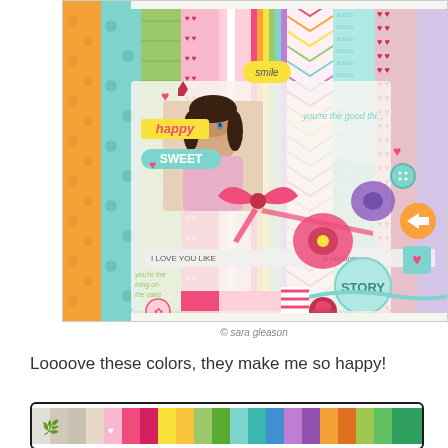[Figure (photo): A colorful digital scrapbooking kit collage featuring papers in teal, pink, green, orange, yellow, and purple patterns (chevrons, dots, hearts, stripes, XOXO), decorated with flowers, hearts, ribbons, buttons, and a photo of a young girl. Text elements include 'smile', 'happy', 'SWEET', 'you're the good thi...', 'you're the icing on the cake', 'I LOVE YOU LIKE... a rainbow', 'STORY'.]
© sara gleason
Loooove these colors, they make me so happy!
[Figure (photo): A horizontal strip showing a digital scrapbooking kit with colored paper swatches and embellishments, shown in a thin bordered rectangular preview.]